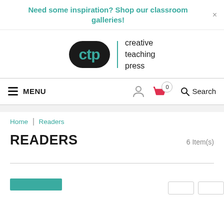Need some inspiration? Shop our classroom galleries!
[Figure (logo): Creative Teaching Press (ctp) logo with black rounded badge and teal lettering, vertical divider, and text 'creative teaching press']
MENU | person icon | basket 0 | Search
Home | Readers
READERS
6 Item(s)